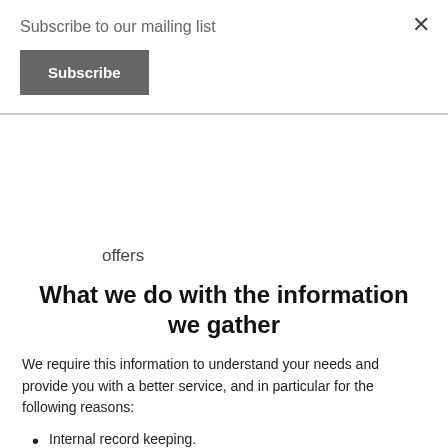Subscribe to our mailing list
×
Subscribe
offers
What we do with the information we gather
We require this information to understand your needs and provide you with a better service, and in particular for the following reasons:
Internal record keeping.
We may use the information to improve our products and services.
We may periodically send promotional email about new products, special offers or other information which we think you may find interesting using the email address